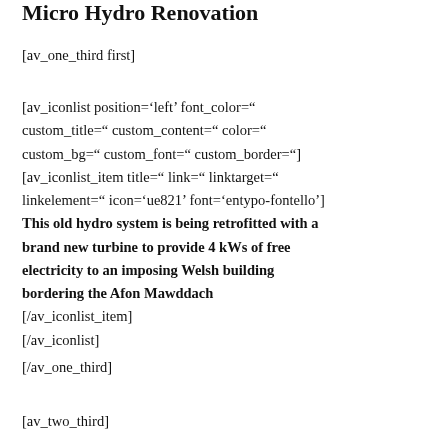Micro Hydro Renovation
[av_one_third first]
[av_iconlist position='left' font_color=" custom_title=" custom_content=" color=" custom_bg=" custom_font=" custom_border="] [av_iconlist_item title=" link=" linktarget=" linkelement=" icon='ue821' font='entypo-fontello'] This old hydro system is being retrofitted with a brand new turbine to provide 4 kWs of free electricity to an imposing Welsh building bordering the Afon Mawddach [/av_iconlist_item] [/av_iconlist]
[/av_one_third]
[av_two_third]